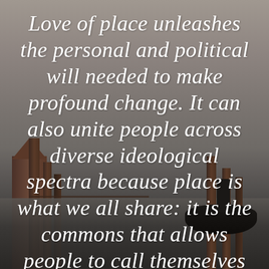[Figure (photo): Sepia-toned photograph of a Venice canal scene with wooden mooring posts, a church tower/spire on the left, a gondola and gondolier on the right, and calm water in the background.]
Love of place unleashes the personal and political will needed to make profound change. It can also unite people across diverse ideological spectra because place is what we all share: it is the commons that allows people to call themselves a